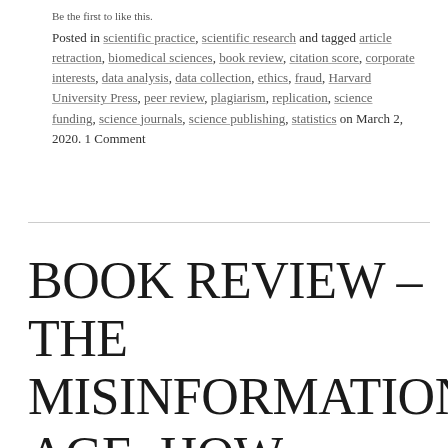Be the first to like this.
Posted in scientific practice, scientific research and tagged article retraction, biomedical sciences, book review, citation score, corporate interests, data analysis, data collection, ethics, fraud, Harvard University Press, peer review, plagiarism, replication, science funding, science journals, science publishing, statistics on March 2, 2020. 1 Comment
BOOK REVIEW – THE MISINFORMATION AGE: HOW FALSE BELIEFS SPREAD